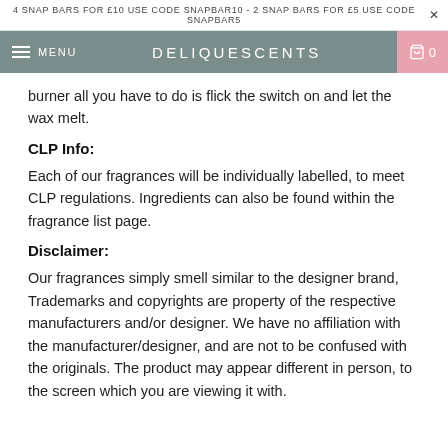4 SNAP BARS FOR £10 USE CODE SNAPBAR10 - 2 SNAP BARS FOR £5 USE CODE SNAPBAR5
DELIQUESCENTS
burner all you have to do is flick the switch on and let the wax melt.
CLP Info:
Each of our fragrances will be individually labelled, to meet CLP regulations. Ingredients can also be found within the fragrance list page.
Disclaimer:
Our fragrances simply smell similar to the designer brand, Trademarks and copyrights are property of the respective manufacturers and/or designer. We have no affiliation with the manufacturer/designer, and are not to be confused with the originals. The product may appear different in person, to the screen which you are viewing it with.